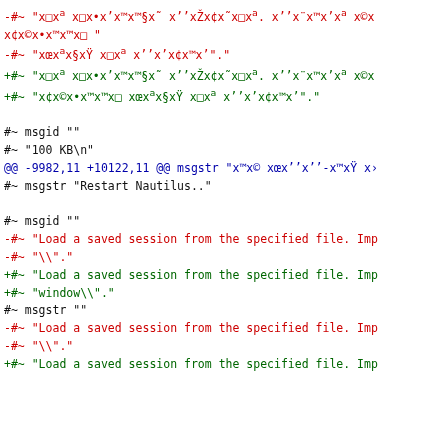-#~ "x□x° x□x•x’x™x™§x˜ x’’xŽx¢x˜x□x°. x’’x¨x™x’x° x©x x¢x©x•x™x™x□ "
-#~ "xœx°x§xŸ x□x° x’’x’x¢x™x’"."
+#~ "x□x° x□x•x’x™x™§x˜ x’’xŽx¢x˜x□x°. x’’x¨x™x’x° x©x
+#~ "x¢x©x•x™x™x□ xœx°x§xŸ x□x° x’’x’x¢x™x’"."
#~ msgid ""
#~ "100 KB\n"
@@ -9982,11 +10122,11 @@ msgstr "x™x© xœx’’x’’-x™xŸ x›
#~ msgstr "Restart Nautilus.."
#~ msgid ""
-#~ "Load a saved session from the specified file. Imp
-#~ "\"."
+#~ "Load a saved session from the specified file. Imp
+#~ "window\"."
#~ msgstr ""
-#~ "Load a saved session from the specified file. Imp
-#~ "\"."
+#~ "Load a saved session from the specified file. Imp